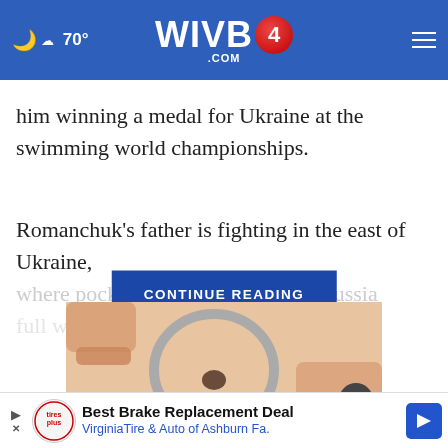70° WIVB4.COM
him winning a medal for Ukraine at the swimming world championships.
Romanchuk's father is fighting in the east of Ukraine, where pockets [CONTINUE READING] hying Russia full with are ea... four months the
[Figure (photo): Close-up of a hand holding a magnifying glass over skin with a mole, advertisement image]
[Figure (other): Bottom advertisement banner: Best Brake Replacement Deal - VirginiaTire & Auto of Ashburn Fa. with Tires Plus logo and blue arrow icon]